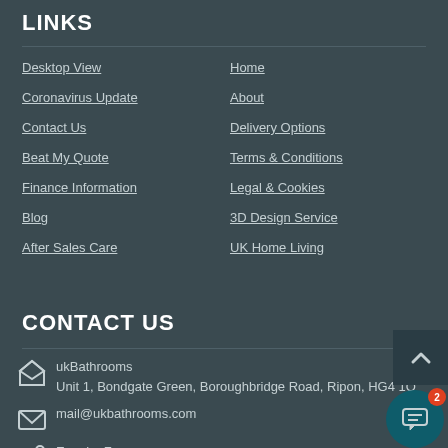LINKS
Desktop View
Home
Coronavirus Update
About
Contact Us
Delivery Options
Beat My Quote
Terms & Conditions
Finance Information
Legal & Cookies
Blog
3D Design Service
After Sales Care
UK Home Living
CONTACT US
ukBathrooms
Unit 1, Bondgate Green, Boroughbridge Road, Ripon, HG4 1Q
mail@ukbathrooms.com
Enquiry Form